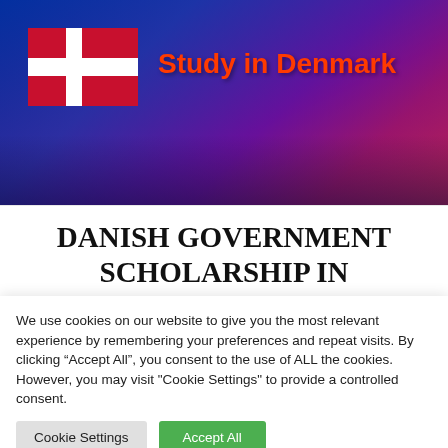[Figure (photo): Banner image with colorful city night reflection background, Danish flag on left, and 'Study in Denmark' text in red on right]
DANISH GOVERNMENT SCHOLARSHIP IN UNIVERSITY OF SOUTHERN DENMARK...
We use cookies on our website to give you the most relevant experience by remembering your preferences and repeat visits. By clicking “Accept All”, you consent to the use of ALL the cookies. However, you may visit "Cookie Settings" to provide a controlled consent.